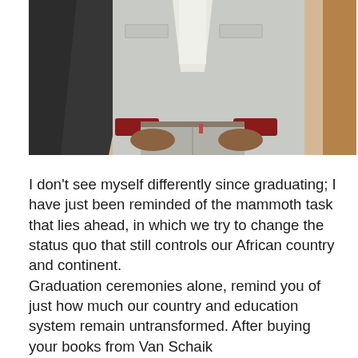[Figure (photo): A person wearing a light grey/white blazer jacket over a white shirt with red cuffs showing, grey trousers, and a dark academic graduation gown draped over the shoulders. The photo is cropped from approximately the chest/shoulders down to the knees. Another person is partially visible on the right edge. The background appears to be a light-coloured outdoor pavement area.]
I don't see myself differently since graduating; I have just been reminded of the mammoth task that lies ahead, in which we try to change the status quo that still controls our African country and continent. Graduation ceremonies alone, remind you of just how much our country and education system remain untransformed. After buying your books from Van Schaik